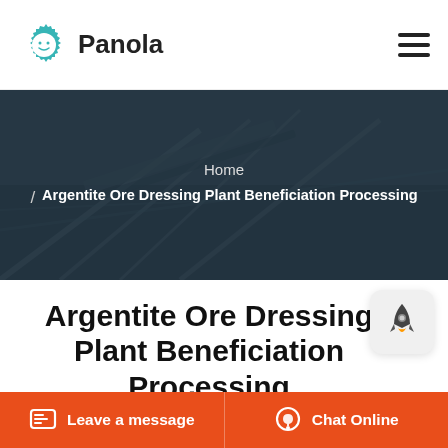Panola
[Figure (photo): Industrial ore processing plant with conveyor structures, dark teal overlay, hero banner image]
Argentite Ore Dressing Plant Beneficiation Processing
Dec 01 2012 Lead Ore Processing and Beneficiation Plant Equipment for sale Lead ore beneficiation is to introduce a new type of lead ore dressing is
Leave a message | Chat Online